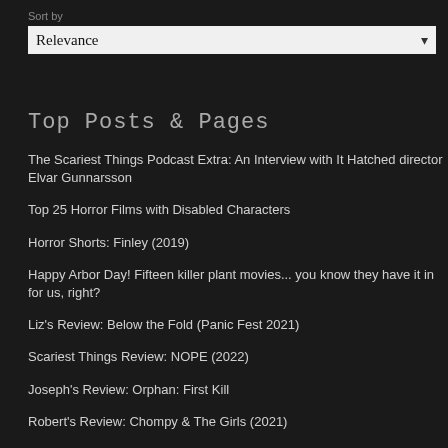Sort by
Relevance
Top Posts & Pages
The Scariest Things Podcast Extra: An Interview with It Hatched director Elvar Gunnarsson
Top 25 Horror Films with Disabled Characters
Horror Shorts: Finley (2019)
Happy Arbor Day! Fifteen killer plant movies... you know they have it in for us, right?
Liz's Review: Below the Fold (Panic Fest 2021)
Scariest Things Review: NOPE (2022)
Joseph's Review: Orphan: First Kill
Robert's Review: Chompy & The Girls (2021)
Eric's Review: Crabs! (2021): (Another Hole in the Head Film Festival)
Eric's Review: The Farm (2018)